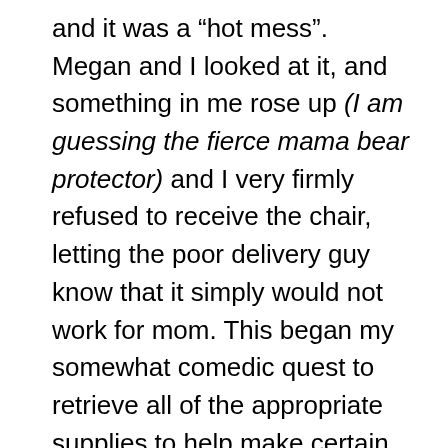and it was a “hot mess”. Megan and I looked at it, and something in me rose up (I am guessing the fierce mama bear protector) and I very firmly refused to receive the chair, letting the poor delivery guy know that it simply would not work for mom. This began my somewhat comedic quest to retrieve all of the appropriate supplies to help make certain we had what we needed to take mom safely home. First, I visited the Knights of Columbus, a Catholic organization of retired men that offers free medical supplies to anyone who needs them. The gentlemen that run the place are some of the kindest and most helpful fellas you will ever meet. Not only did they have the walker I was looking for, but the